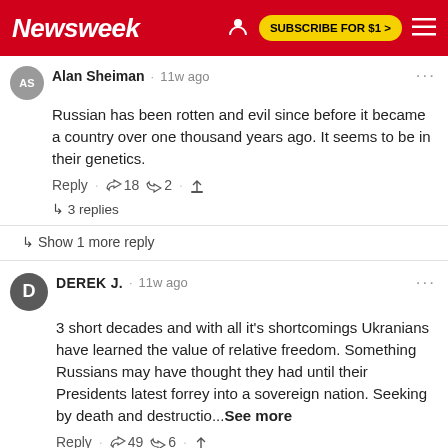Newsweek — SUBSCRIBE FOR $1 >
Alan Sheiman · 11w ago
Russian has been rotten and evil since before it became a country over one thousand years ago.  It seems to be in their genetics.
Reply · 👍 18 👎 2 · ↑
↳ 3 replies
↳ Show 1 more reply
DEREK J. · 11w ago
3 short decades and with all it's shortcomings Ukranians have learned the value of relative freedom. Something Russians may have thought they had until their Presidents latest forrey into a sovereign nation. Seeking by death and destructio...See more
Reply · 👍 49 👎 6 · ↑